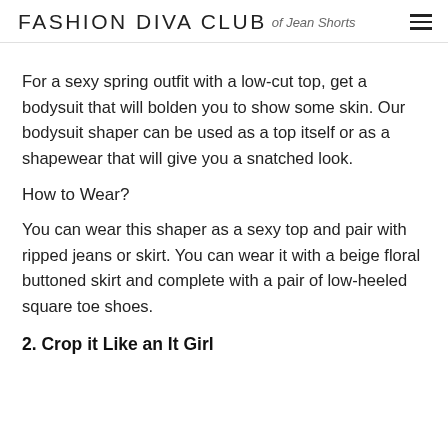FASHION DIVA CLUB of Jean Shorts
For a sexy spring outfit with a low-cut top, get a bodysuit that will bolden you to show some skin. Our bodysuit shaper can be used as a top itself or as a shapewear that will give you a snatched look.
How to Wear?
You can wear this shaper as a sexy top and pair with ripped jeans or skirt. You can wear it with a beige floral buttoned skirt and complete with a pair of low-heeled square toe shoes.
2. Crop it Like an It Girl